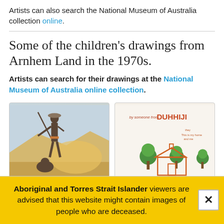Artists can also search the National Museum of Australia collection online.
Some of the children's drawings from Arnhem Land in the 1970s.
Artists can search for their drawings at the National Museum of Australia online collection.
[Figure (photo): Child's drawing or painting of an Aboriginal figure holding a spear, with a landscape background in muted tones of blue, grey, and yellow/orange.]
[Figure (photo): Child's drawing on white paper showing text in orange (appears to read 'DUHHIJI' or similar), with green trees and an orange house/building shape drawn below.]
Aboriginal and Torres Strait Islander viewers are advised that this website might contain images of people who are deceased.